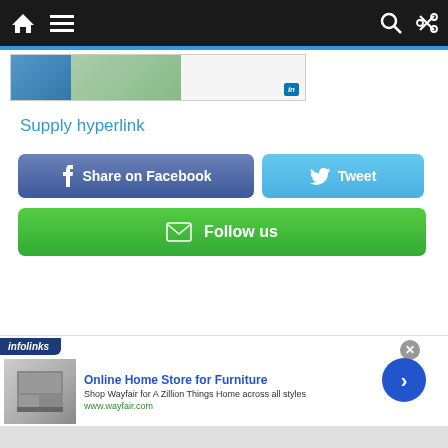Navigation bar with home, menu, search, and share icons
[Figure (screenshot): Partial advertisement banner showing blue and green blocks with LinkedIn icon]
Supply hyperlink
[Figure (screenshot): Share on Facebook button (dark blue rounded rectangle with Facebook f icon)]
[Figure (screenshot): Tweet button (light blue rounded rectangle with Twitter bird icon)]
[Figure (screenshot): Follow us button (green wide rounded rectangle with envelope icon)]
[Figure (screenshot): Infolinks advertisement banner - Online Home Store for Furniture, Shop Wayfair for A Zillion Things Home across all styles, www.wayfair.com]